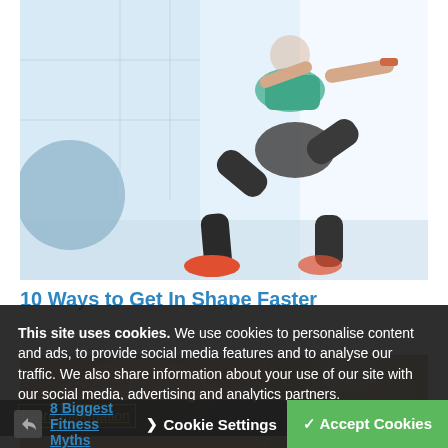[Figure (photo): Woman doing squats in workout clothes in a gym, holding small dumbbells, wearing a teal sports top and grey leggings with red sneakers, exercise ball visible in background]
10 Ways to Get In Shape Faster
[Figure (photo): Blurred image of a person exercising on the floor]
This site uses cookies. We use cookies to personalise content and ads, to provide social media features and to analyse our traffic. We also share information about your use of our site with our social media, advertising and analytics partners. More Information
8 Biggest Fitness Myths
Cookie Settings
✓ Accept Cookies